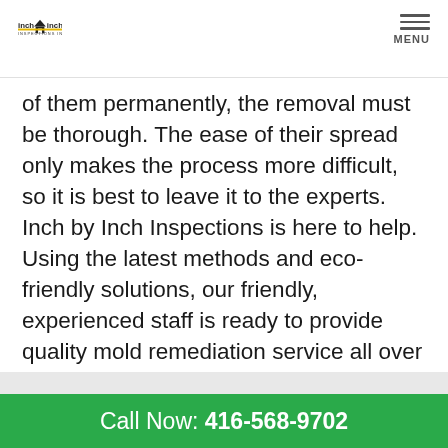inch by inch Inspections Inc. | MENU
of them permanently, the removal must be thorough. The ease of their spread only makes the process more difficult, so it is best to leave it to the experts. Inch by Inch Inspections is here to help. Using the latest methods and eco-friendly solutions, our friendly, experienced staff is ready to provide quality mold remediation service all over Toronto and the GTA. Reach out to Inch by Inch and schedule your mold remediation today.
Call Now: 416-568-9702